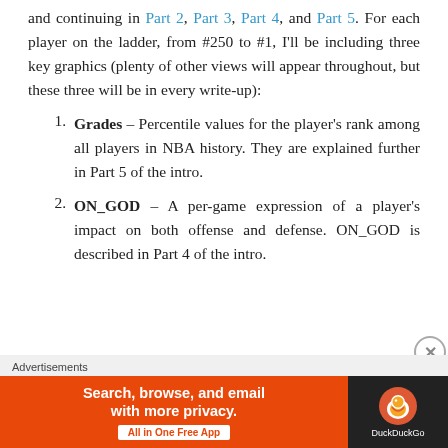and continuing in Part 2, Part 3, Part 4, and Part 5. For each player on the ladder, from #250 to #1, I'll be including three key graphics (plenty of other views will appear throughout, but these three will be in every write-up):
Grades – Percentile values for the player's rank among all players in NBA history. They are explained further in Part 5 of the intro.
ON_GOD – A per-game expression of a player's impact on both offense and defense. ON_GOD is described in Part 4 of the intro.
Advertisements
[Figure (other): DuckDuckGo advertisement banner: orange section with 'Search, browse, and email with more privacy. All in One Free App' and dark section with DuckDuckGo logo and name.]